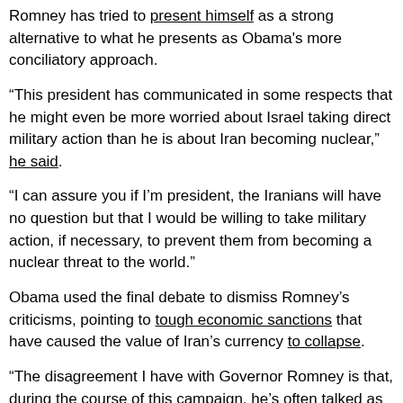Romney has tried to present himself as a strong alternative to what he presents as Obama's more conciliatory approach.
“This president has communicated in some respects that he might even be more worried about Israel taking direct military action than he is about Iran becoming nuclear,” he said.
“I can assure you if I’m president, the Iranians will have no question but that I would be willing to take military action, if necessary, to prevent them from becoming a nuclear threat to the world.”
Obama used the final debate to dismiss Romney’s criticisms, pointing to tough economic sanctions that have caused the value of Iran’s currency to collapse.
“The disagreement I have with Governor Romney is that, during the course of this campaign, he’s often talked as if we should take premature military action,” he said.
Both candidates pledged to stand with Israel in any regional conflict,